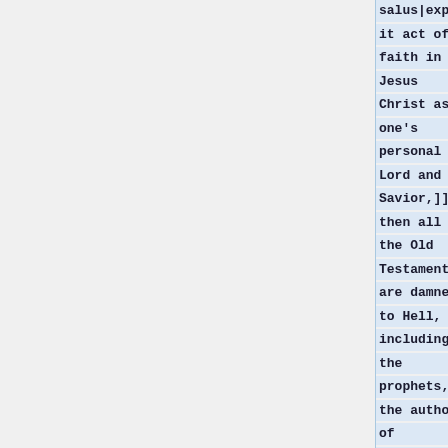salus|explicit act of faith in Jesus Christ as one's personal Lord and Savior,]] then all in the Old Testament are damned to Hell, including the prophets, the authors of Scripture, and God's Chosen